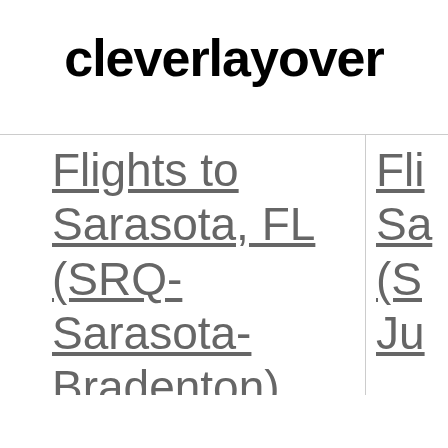cleverlayover
Flights to Sarasota, FL (SRQ-Sarasota-Bradenton). Flights to Makel... Bi...